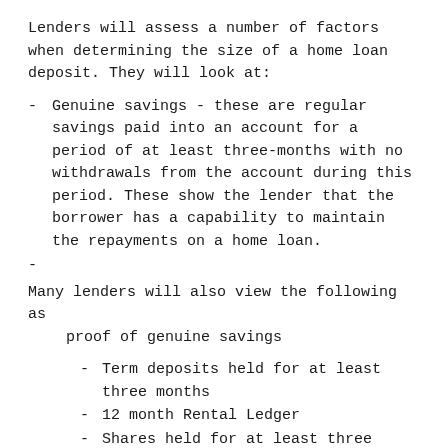Lenders will assess a number of factors when determining the size of a home loan deposit. They will look at:
Genuine savings - these are regular savings paid into an account for a period of at least three-months with no withdrawals from the account during this period. These show the lender that the borrower has a capability to maintain the repayments on a home loan.
-
Many lenders will also view the following as proof of genuine savings
Term deposits held for at least three months
12 month Rental Ledger
Shares held for at least three months
Inheritance when held in an account for at least three months